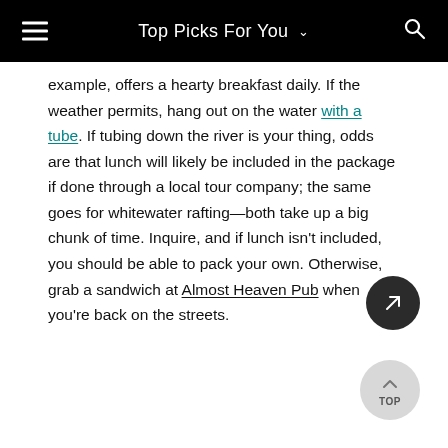Top Picks For You
example, offers a hearty breakfast daily. If the weather permits, hang out on the water with a tube. If tubing down the river is your thing, odds are that lunch will likely be included in the package if done through a local tour company; the same goes for whitewater rafting—both take up a big chunk of time. Inquire, and if lunch isn't included, you should be able to pack your own. Otherwise, grab a sandwich at Almost Heaven Pub when you're back on the streets.